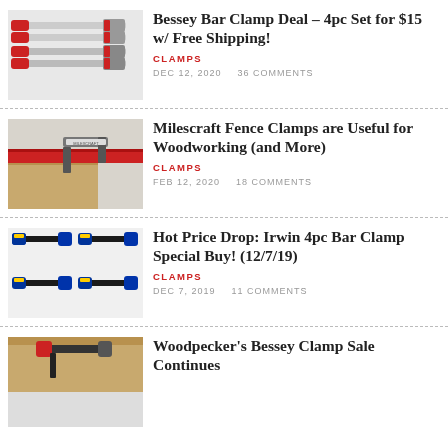[Figure (photo): Red-handled Bessey bar clamps arranged on white background]
Bessey Bar Clamp Deal – 4pc Set for $15 w/ Free Shipping!
CLAMPS
DEC 12, 2020   36 COMMENTS
[Figure (photo): Milescraft fence clamp mounted on red track rail with wooden workpiece]
Milescraft Fence Clamps are Useful for Woodworking (and More)
CLAMPS
FEB 12, 2020   18 COMMENTS
[Figure (photo): Four blue and yellow Irwin bar clamps arranged on white background]
Hot Price Drop: Irwin 4pc Bar Clamp Special Buy! (12/7/19)
CLAMPS
DEC 7, 2019   11 COMMENTS
[Figure (photo): Woodpecker's Bessey clamp on wooden surface — partial view]
Woodpecker's Bessey Clamp Sale Continues